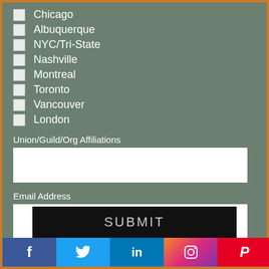Chicago
Albuquerque
NYC/Tri-State
Nashville
Montreal
Toronto
Vancouver
London
Union/Guild/Org Affiliations
Email Address
SUBMIT